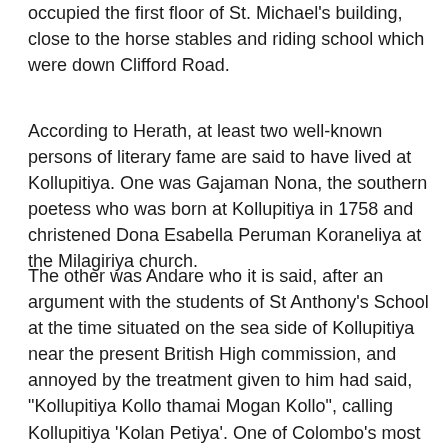occupied the first floor of St. Michael's building, close to the horse stables and riding school which were down Clifford Road.
According to Herath, at least two well-known persons of literary fame are said to have lived at Kollupitiya. One was Gajaman Nona, the southern poetess who was born at Kollupitiya in 1758 and christened Dona Esabella Peruman Koraneliya at the Milagiriya church.
The other was Andare who it is said, after an argument with the students of St Anthony's School at the time situated on the sea side of Kollupitiya near the present British High commission, and annoyed by the treatment given to him had said, "Kollupitiya Kollo thamai Mogan Kollo", calling Kollupitiya 'Kolan Petiya'. One of Colombo's most prominent landmarks, the Beira Lake was once known as the Colombo Lake and was originally an extensive reach of flood water from the Kelani Ganga." The Lake was called 'Lagoon' by the Portuguese, a sheet of water described as being full of frightful alligators and crocodiles. Hence the name Kayman's Gate for a nearby street", notes the author.